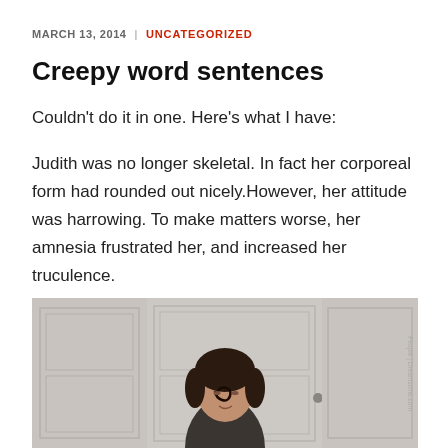MARCH 13, 2014 | UNCATEGORIZED
Creepy word sentences
Couldn’t do it in one. Here’s what I have:
Judith was no longer skeletal. In fact her corporeal form had rounded out nicely.However, her attitude was harrowing. To make matters worse, her amnesia frustrated her, and increased her truculence.
[Figure (photo): A woman with dark hair sitting in a kitchen, photographed from a slightly elevated angle. Watermark text partially visible on the right side reading 'People | Dreamstime.com']